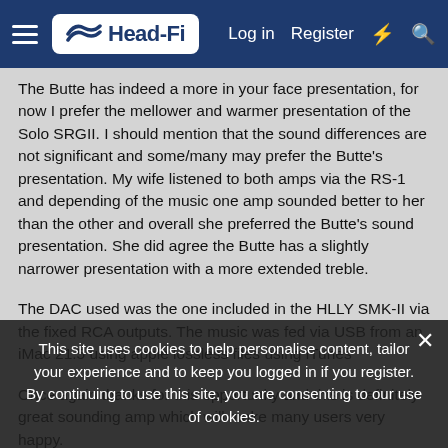Head-Fi — Log in | Register
The Butte has indeed a more in your face presentation, for now I prefer the mellower and warmer presentation of the Solo SRGII. I should mention that the sound differences are not significant and some/many may prefer the Butte's presentation. My wife listened to both amps via the RS-1 and depending of the music one amp sounded better to her than the other and overall she preferred the Butte's sound presentation. She did agree the Butte has a slightly narrower presentation with a more extended treble.
The DAC used was the one included in the HLLY SMK-II via the fixed RCA outputs. The music was fed via USB from an iMac 21.5 using apple lossless files using iTunes...
Once again thanks for this opportunity and this is definitely great sounding amp which will make many users very happy.
This site uses cookies to help personalise content, tailor your experience and to keep you logged in if you register. By continuing to use this site, you are consenting to our use of cookies.